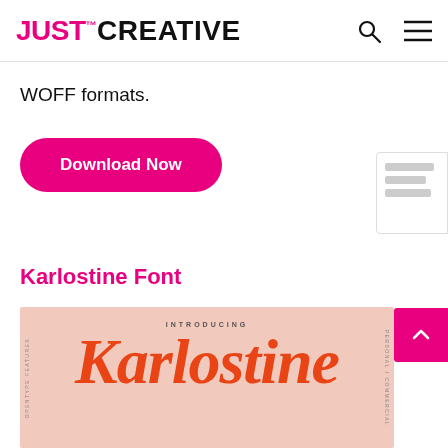JUST CREATIVE
WOFF formats.
Download Now
Karlostine Font
[Figure (illustration): Karlostine font promotional image on peach/salmon background with 'INTRODUCING' text above and the word 'Karlostine' in large orange script lettering]